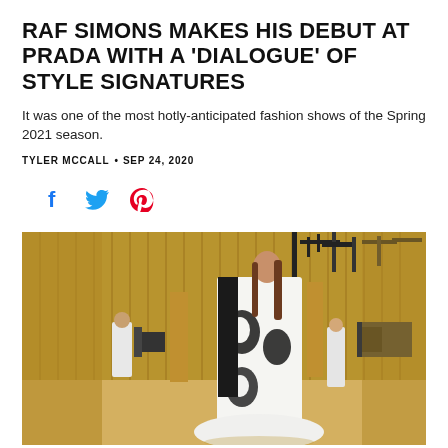RAF SIMONS MAKES HIS DEBUT AT PRADA WITH A 'DIALOGUE' OF STYLE SIGNATURES
It was one of the most hotly-anticipated fashion shows of the Spring 2021 season.
TYLER MCCALL • SEP 24, 2020
[Figure (infographic): Social sharing icons: Facebook (blue), Twitter (blue), Pinterest (red)]
[Figure (photo): A model walks in a white dress with black graphic prints in a golden-curtained room with camera equipment, at the Prada Spring 2021 show.]